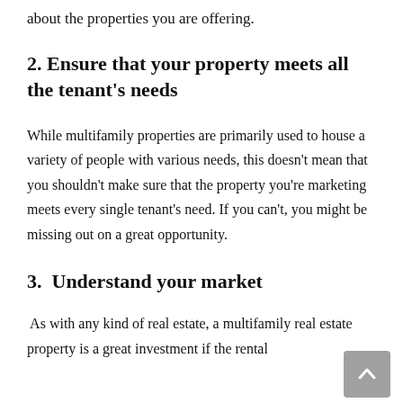about the properties you are offering.
2. Ensure that your property meets all the tenant's needs
While multifamily properties are primarily used to house a variety of people with various needs, this doesn't mean that you shouldn't make sure that the property you're marketing meets every single tenant's need. If you can't, you might be missing out on a great opportunity.
3.  Understand your market
As with any kind of real estate, a multifamily real estate property is a great investment if the rental